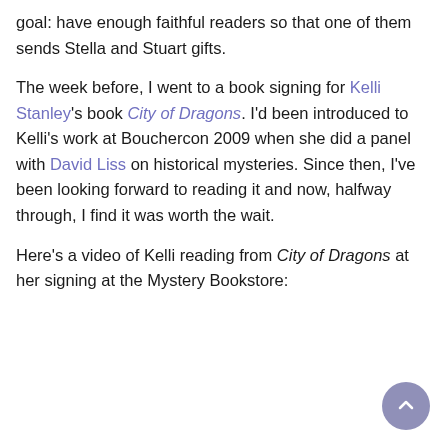goal: have enough faithful readers so that one of them sends Stella and Stuart gifts.
The week before, I went to a book signing for Kelli Stanley's book City of Dragons. I'd been introduced to Kelli's work at Bouchercon 2009 when she did a panel with David Liss on historical mysteries. Since then, I've been looking forward to reading it and now, halfway through, I find it was worth the wait.
Here's a video of Kelli reading from City of Dragons at her signing at the Mystery Bookstore: